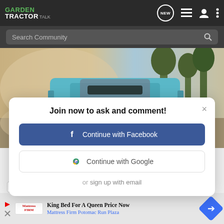GARDEN TRACTOR TALK
Search Community
[Figure (screenshot): Blue pickup truck driving on a dusty road through trees, viewed from front angle]
Join now to ask and comment!
Continue with Facebook
Continue with Google
or sign up with email
Learn more.
King Bed For A Queen Price Now
Mattress Firm Potomac Run Plaza